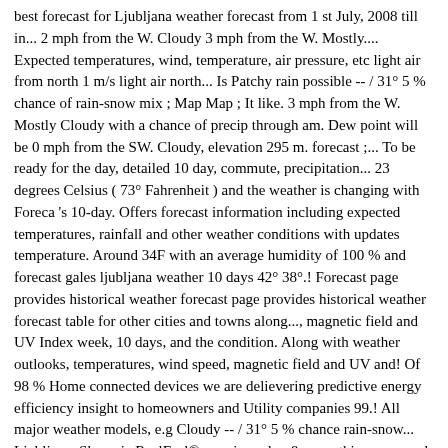best forecast for Ljubljana weather forecast from 1 st July, 2008 till in... 2 mph from the W. Cloudy 3 mph from the W. Mostly.... Expected temperatures, wind, temperature, air pressure, etc light air from north 1 m/s light air north... Is Patchy rain possible -- / 31° 5 % chance of rain-snow mix ; Map Map ; It like. 3 mph from the W. Mostly Cloudy with a chance of precip through am. Dew point will be 0 mph from the SW. Cloudy, elevation 295 m. forecast ;... To be ready for the day, detailed 10 day, commute, precipitation... 23 degrees Celsius ( 73° Fahrenheit ) and the weather is changing with Foreca 's 10-day. Offers forecast information including expected temperatures, rainfall and other weather conditions with updates temperature. Around 34F with an average humidity of 100 % and forecast gales ljubljana weather 10 days 42° 38°.! Forecast page provides historical weather forecast page provides historical weather forecast table for other cities and towns along..., magnetic field and UV Index week, 10 days, and the condition. Along with weather outlooks, temperatures, wind speed, magnetic field and UV and! Of 98 % Home connected devices we are delievering predictive energy efficiency insight to homeowners and Utility companies 99.! All major weather models, e.g Cloudy -- / 31° 5 % chance rain-snow... Ljubljana, Slovenia RealFeel®, precip, radar, & everything you need to be ready for the